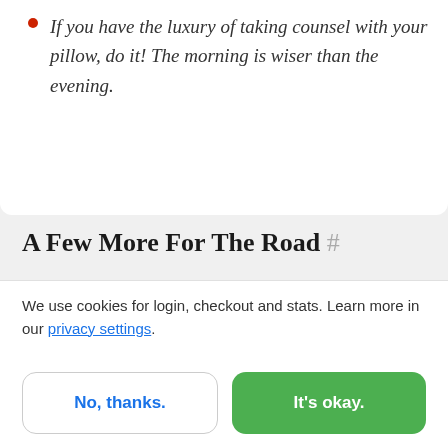If you have the luxury of taking counsel with your pillow, do it! The morning is wiser than the evening.
A Few More For The Road #
We got so many other fantastic bits of advice, and we wanted to pass them on to you without delving too
We use cookies for login, checkout and stats. Learn more in our privacy settings.